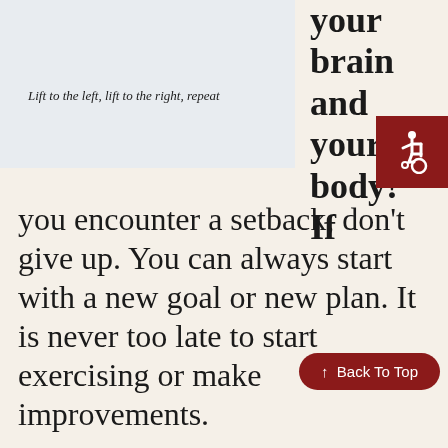[Figure (photo): Image placeholder box with caption text inside]
Lift to the left, lift to the right, repeat
your brain and your body! If you encounter a setback, don't give up. You can always start with a new goal or new plan. It is never too late to start exercising or make improvements.
Kari Richie and the Springmoor Wellness Center team offer over 40 classes each week. We invite y
[Figure (illustration): Accessibility wheelchair icon in dark red square]
↑ Back To Top